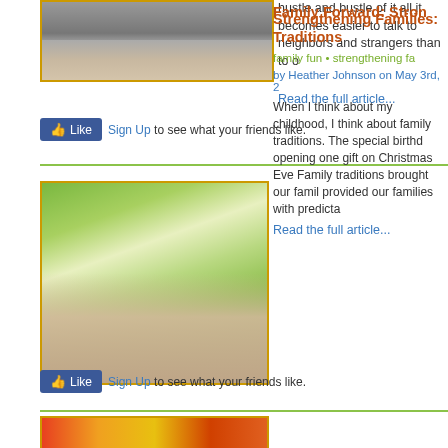[Figure (photo): Hands photo, top of page, partially visible]
hustle and bustle of it all it becomes easier to talk to neighbors and strangers than to o...
Read the full article...
Sign Up to see what your friends like.
[Figure (photo): Three smiling girls outdoors with green trees in background]
Strengthening Families: Traditions
family fun • strengthening fa...
by Heather Johnson on May 3rd, 2...
When I think about my childhood, I think about family traditions. The special birthd... opening one gift on Christmas Eve... Family traditions brought our family... provided our families with predicta...
Read the full article...
Sign Up to see what your friends like.
[Figure (photo): Colorful photo, partially visible at bottom]
Family Forward: Stron...